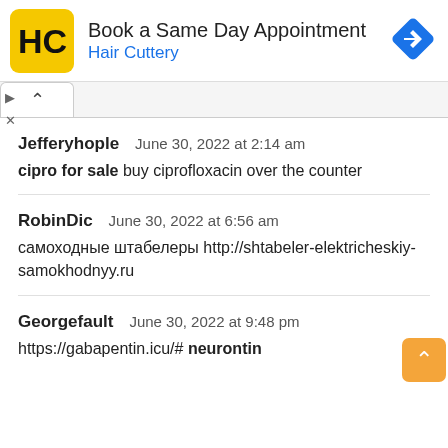[Figure (infographic): Advertisement banner for Hair Cuttery showing yellow HC logo, text 'Book a Same Day Appointment' and 'Hair Cuttery' in blue, with a blue diamond-shaped navigation icon on the right]
Jefferyhople   June 30, 2022 at 2:14 am
cipro for sale buy ciprofloxacin over the counter
RobinDic   June 30, 2022 at 6:56 am
самоходные штабелеры http://shtabeler-elektricheskiy-samokhodnyy.ru
Georgefault   June 30, 2022 at 9:48 pm
https://gabapentin.icu/# neurontin